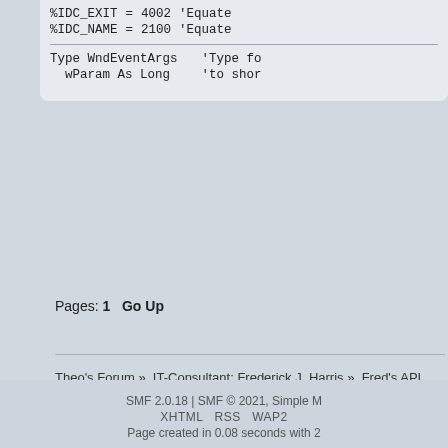%IDC_EXIT = 4002 'Equate
%IDC_NAME = 2100 'Equate

Type WndEventArgs 'Type fo
  wParam As Long 'to shor
Pages: 1   Go Up
Theo's Forum »  IT-Consultant: Frederick J. Harris »  Fred's API (Application Programming... Fred's Tutorial #5: Windows API Tutorial: The Open File Dialog Box
Jump to:  => Fre
SMF 2.0.18 | SMF © 2021, Simple M
XHTML   RSS   WAP2
Page created in 0.08 seconds with 2